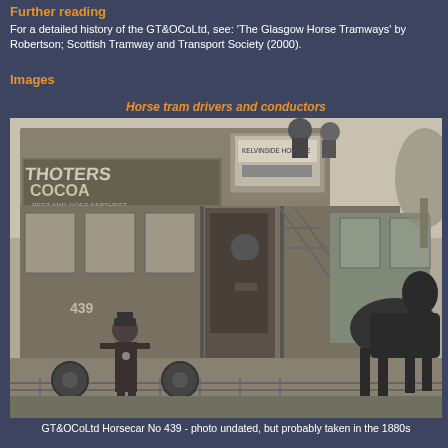Further reading
For a detailed history of the GT&OCoLtd, see: 'The Glasgow Horse Tramways' by Robertson; Scottish Tramway and Transport Society (2000).
Images
Horse tram drivers and conductors
[Figure (photo): Black and white historical photograph of a horse-drawn tram, GT&OCoLtd Horsecar No 439. A uniformed conductor stands in front of the tram, another worker stands at the entrance, and a horse is visible on the right. The tram has an advertisement for Cadbury's Cocoa. People are visible on the upper deck.]
GT&OCoLtd Horsecar No 439 - photo undated, but probably taken in the 1880s